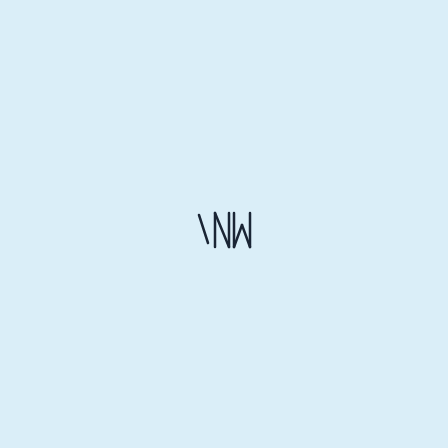[Figure (other): Small dark symbol or logo mark centered slightly left of center on a light blue background, resembling a stylized 'NW' or waveform/signal icon with diagonal and vertical strokes]